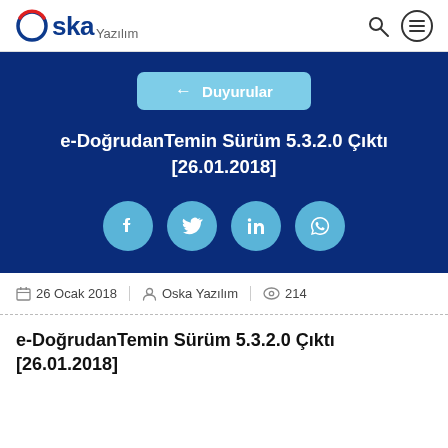Oska Yazılım
[Figure (screenshot): Dark blue hero banner with back button labeled 'Duyurular', title 'e-DoğrudanTemin Sürüm 5.3.2.0 Çıktı [26.01.2018]', and four social media share buttons (Facebook, Twitter, LinkedIn, WhatsApp)]
26 Ocak 2018 | Oska Yazılım | 214
e-DoğrudanTemin Sürüm 5.3.2.0 Çıktı [26.01.2018]